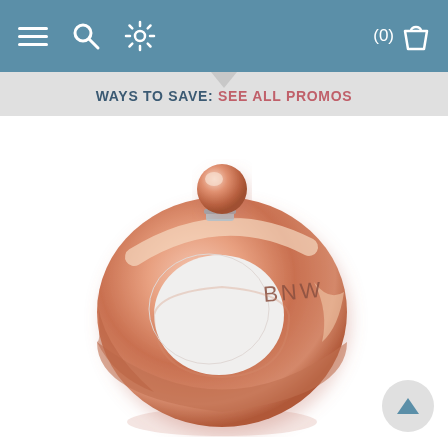Navigation bar with menu, search, settings icons and cart (0)
WAYS TO SAVE: SEE ALL PROMOS
[Figure (photo): Rose gold ring-shaped flask with spherical stopper, engraved with letters B N W, photographed on white background]